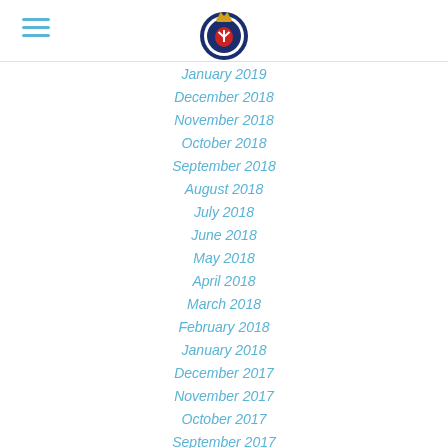Navigation header with hamburger menu and logo
January 2019
December 2018
November 2018
October 2018
September 2018
August 2018
July 2018
June 2018
May 2018
April 2018
March 2018
February 2018
January 2018
December 2017
November 2017
October 2017
September 2017
June 2017
May 2017